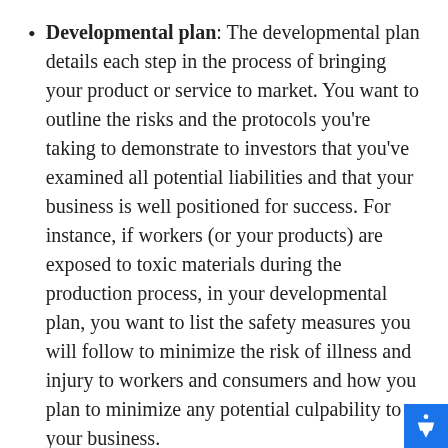Developmental plan: The developmental plan details each step in the process of bringing your product or service to market. You want to outline the risks and the protocols you're taking to demonstrate to investors that you've examined all potential liabilities and that your business is well positioned for success. For instance, if workers (or your products) are exposed to toxic materials during the production process, in your developmental plan, you want to list the safety measures you will follow to minimize the risk of illness and injury to workers and consumers and how you plan to minimize any potential culpability to your business.
Production plan: The production plan includes the day-to-day operation information, such as your business hours, the...